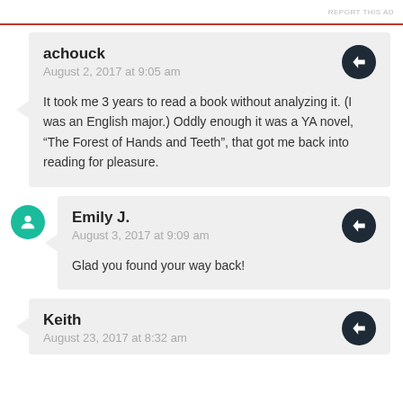REPORT THIS AD
achouck
August 2, 2017 at 9:05 am

It took me 3 years to read a book without analyzing it. (I was an English major.) Oddly enough it was a YA novel, “The Forest of Hands and Teeth”, that got me back into reading for pleasure.
Emily J.
August 3, 2017 at 9:09 am

Glad you found your way back!
Keith
August 23, 2017 at 8:32 am